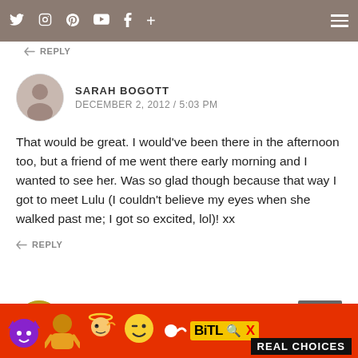Social media navigation bar with icons: Twitter, Instagram, Pinterest, YouTube, Facebook, Plus, and hamburger menu
↩ REPLY
SARAH BOGOTT
DECEMBER 2, 2012 / 5:03 PM
That would be great. I would've been there in the afternoon too, but a friend of me went there early morning and I wanted to see her. Was so glad though because that way I got to meet Lulu (I couldn't believe my eyes when she walked past me; I got so excited, lol)! xx
↩ REPLY
LORNA
[Figure (screenshot): BitLife REAL CHOICES advertisement banner with emoji characters (devil, person, angel) on red background]